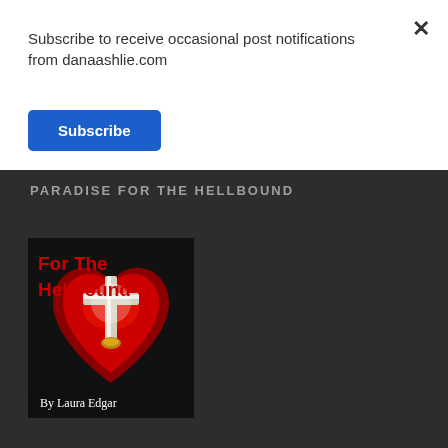Subscribe to receive occasional post notifications from danaashlie.com
Subscribe
PARADISE FOR THE HELLBOUND
[Figure (illustration): Book cover of 'Paradise For The Hellbound' by Laura Edgar. Shows red text on dark background with a glowing cross on a red heart. Text reads 'For The Hellbound' and 'By Laura Edgar' at bottom.]